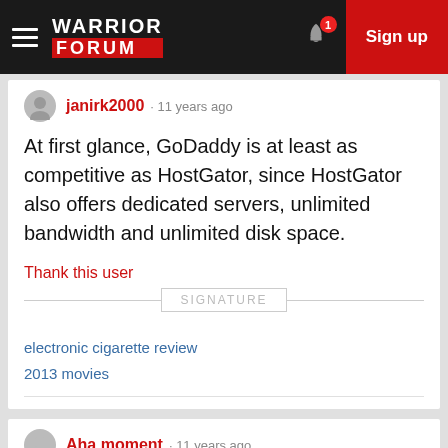Warrior Forum · Sign up
janirk2000 · 11 years ago
At first glance, GoDaddy is at least as competitive as HostGator, since HostGator also offers dedicated servers, unlimited bandwidth and unlimited disk space.
Thank this user
SIGNATURE
electronic cigarette review
2013 movies
Aha moment · 11 years ago
I think so far, hostgator is more